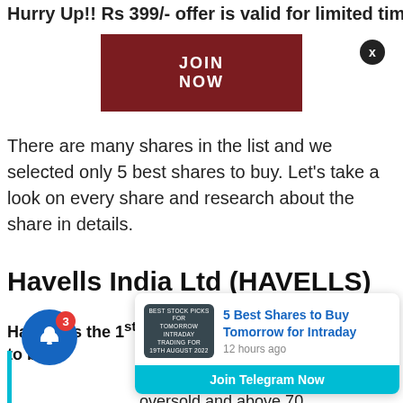Hurry Up!! Rs 399/- offer is valid for limited time
[Figure (other): JOIN NOW button — dark red/maroon rectangular button with white bold text]
There are many shares in the list and we selected only 5 best shares to buy. Let's take a look on every share and research about the share in details.
Havells India Ltd (HAVELLS)
Havells is the 1st share from the list of best shares to buy
RSI is 32.2, RSI below 3
oversold and above 70
[Figure (screenshot): Notification popup card showing '5 Best Shares to Buy Tomorrow for Intraday' with thumbnail image, '12 hours ago' timestamp, and 'Join Telegram Now' teal footer. A close X button is top-right. A blue bell notification icon with red badge '3' is bottom-left.]